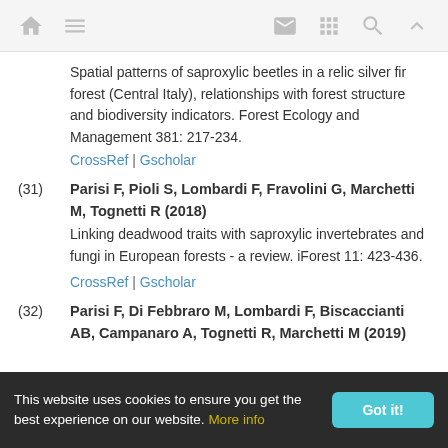Navigation bar with home, menu, mail, grid, search, and up icons
Spatial patterns of saproxylic beetles in a relic silver fir forest (Central Italy), relationships with forest structure and biodiversity indicators. Forest Ecology and Management 381: 217-234.
CrossRef | Gscholar
(31) Parisi F, Pioli S, Lombardi F, Fravolini G, Marchetti M, Tognetti R (2018) Linking deadwood traits with saproxylic invertebrates and fungi in European forests - a review. iForest 11: 423-436. CrossRef | Gscholar
(32) Parisi F, Di Febbraro M, Lombardi F, Biscaccianti AB, Campanaro A, Tognetti R, Marchetti M (2019)
This website uses cookies to ensure you get the best experience on our website. More info